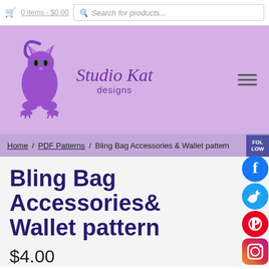0 items - $0.00 | Search for products...
[Figure (logo): Studio Kat Designs logo with purple cat illustration and stylized text]
Home / PDF Patterns / Bling Bag Accessories & Wallet patt...
Bling Bag Accessories & Wallet pattern
$4.00